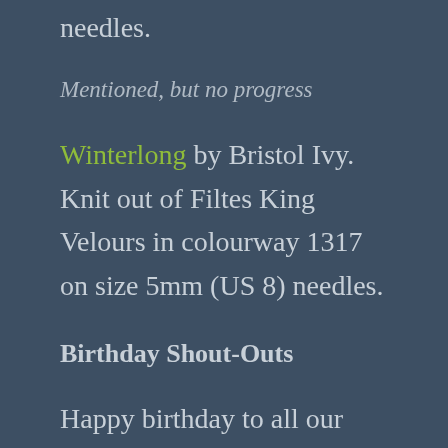needles.
Mentioned, but no progress
Winterlong by Bristol Ivy. Knit out of Filtes King Velours in colourway 1317 on size 5mm (US 8) needles.
Birthday Shout-Outs
Happy birthday to all our July